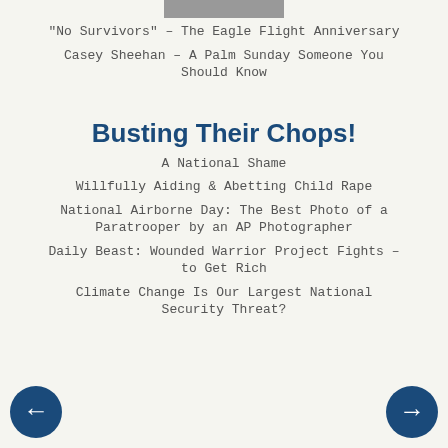[Figure (photo): Partial photo strip at top of page]
"No Survivors" – The Eagle Flight Anniversary
Casey Sheehan – A Palm Sunday Someone You Should Know
Busting Their Chops!
A National Shame
Willfully Aiding & Abetting Child Rape
National Airborne Day: The Best Photo of a Paratrooper by an AP Photographer
Daily Beast: Wounded Warrior Project Fights – to Get Rich
Climate Change Is Our Largest National Security Threat?